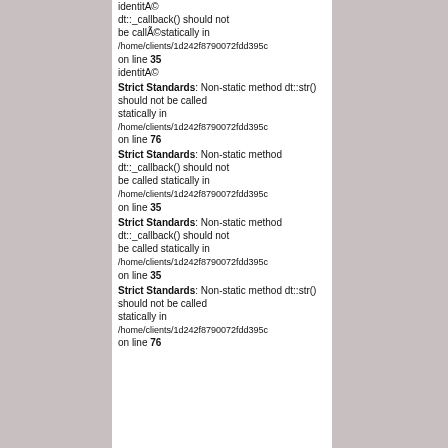identitA© dt::_callback() should not be callÃ©statically in /home/clients/1d242f8790072fdd395c on line 35 identitA©
Strict Standards: Non-static method dt::str() should not be called statically in /home/clients/1d242f8790072fdd395c on line 76
Strict Standards: Non-static method dt::_callback() should not be called statically in /home/clients/1d242f8790072fdd395c on line 35
Strict Standards: Non-static method dt::_callback() should not be called statically in /home/clients/1d242f8790072fdd395c on line 35
Strict Standards: Non-static method dt::str() should not be called statically in /home/clients/1d242f8790072fdd395c on line 76